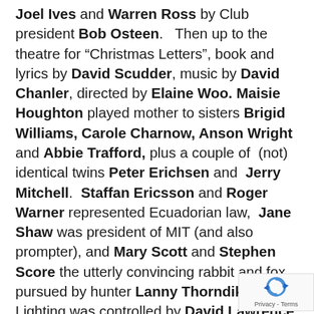Joel Ives and Warren Ross by Club president Bob Osteen.   Then up to the theatre for “Christmas Letters”, book and lyrics by David Scudder, music by David Chanler, directed by Elaine Woo. Maisie Houghton played mother to sisters Brigid Williams, Carole Charnow, Anson Wright and Abbie Trafford, plus a couple of  (not) identical twins Peter Erichsen and  Jerry Mitchell.  Staffan Ericsson and Roger Warner represented Ecuadorian law,  Jane Shaw was president of MIT (and also prompter), and Mary Scott and Stephen Score the utterly convincing rabbit and fox pursued by hunter Lanny Thorndike. Lighting was controlled by David Lawrence and Gabrielle Wolohojian, s... by Peter Haines and Katherine Boden,
[Figure (other): reCAPTCHA badge with blue circular arrow icon and 'Privacy - Terms' text]